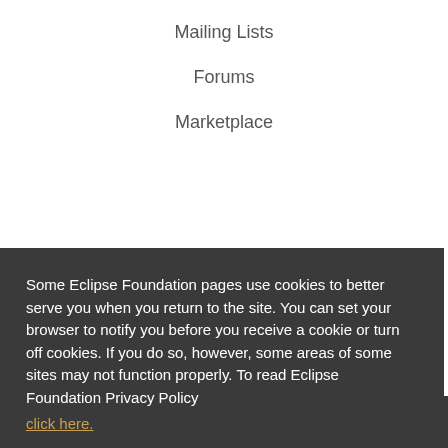Mailing Lists
Forums
Marketplace
Some Eclipse Foundation pages use cookies to better serve you when you return to the site. You can set your browser to notify you before you receive a cookie or turn off cookies. If you do so, however, some areas of some sites may not function properly. To read Eclipse Foundation Privacy Policy click here.
Decline
Allow cookies
ed.
[Figure (illustration): Social media icons row: Twitter, Facebook, YouTube, LinkedIn — circular outlined icons in footer]